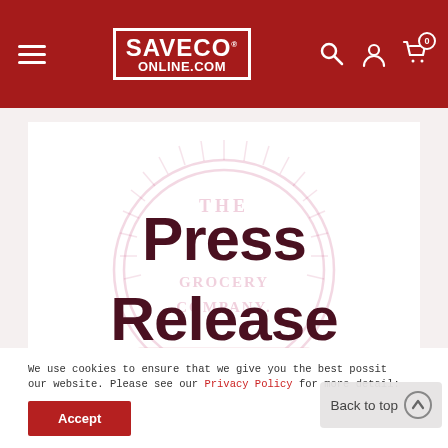SaveCo Online - Website header with logo, hamburger menu, search, account, and cart icons
[Figure (illustration): Press Release banner image with large bold text 'Press Release' overlaid on a faded circular stamp/seal watermark reading 'The Grocery Company' with decorative ribbon elements]
We use cookies to ensure that we give you the best possibl experience on our website. Please see our Privacy Policy for more details.
Accept
Back to top
Dear Customer, As you are all aware we are facing a huge pandemic,